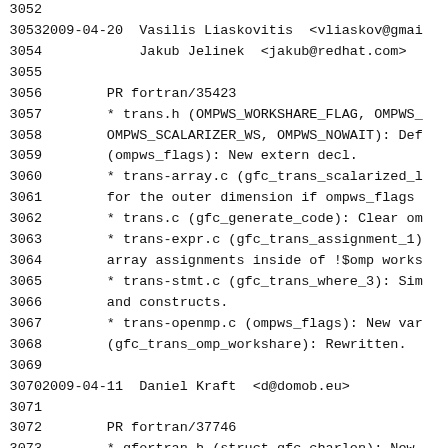3052
3053  2009-04-20  Vasilis Liaskovitis  <vliaskov@gmai
3054              Jakub Jelinek  <jakub@redhat.com>
3055
3056          PR fortran/35423
3057          * trans.h (OMPWS_WORKSHARE_FLAG, OMPWS_
3058          OMPWS_SCALARIZER_WS, OMPWS_NOWAIT): Def
3059          (ompws_flags): New extern decl.
3060          * trans-array.c (gfc_trans_scalarized_l
3061          for the outer dimension if ompws_flags
3062          * trans.c (gfc_generate_code): Clear om
3063          * trans-expr.c (gfc_trans_assignment_1)
3064          array assignments inside of !$omp works
3065          * trans-stmt.c (gfc_trans_where_3): Sim
3066          and constructs.
3067          * trans-openmp.c (ompws_flags): New var
3068          (gfc_trans_omp_workshare): Rewritten.
3069
3070  2009-04-11  Daniel Kraft  <d@domob.eu>
3071
3072          PR fortran/37746
3073          * gfortran.h (struct_gfc_charlen): New